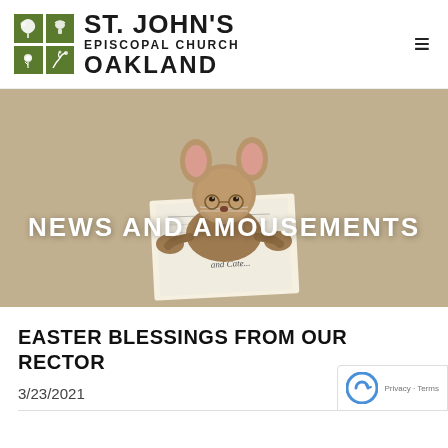[Figure (logo): St. John's Episcopal Church Oakland logo with green four-square grid icon and church name text]
[Figure (illustration): Beatrix Potter-style illustration of a mouse or small animal reading a newspaper titled 'The Tailor' on a tan/khaki background, with overlay text NEWS AND AMOUSEMENTS]
NEWS AND AMOUSEMENTS
EASTER BLESSINGS FROM OUR RECTOR
3/23/2021
0 Comments